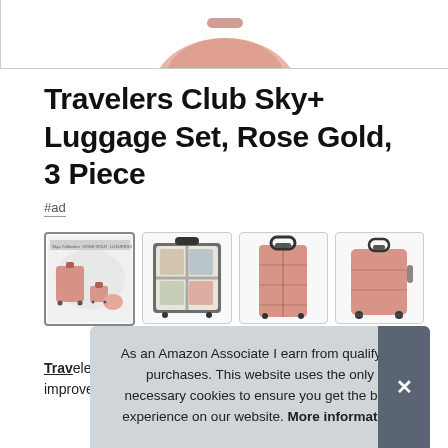[Figure (photo): Partial view of rose gold luggage product image at top of page]
Travelers Club Sky+ Luggage Set, Rose Gold, 3 Piece
#ad
[Figure (photo): Four thumbnail images of Travelers Club luggage set from different angles]
Travelers Club [text cut off] that [text cut off] hard [text cut off] wheels for improved and smooth mobility that's easy on the
As an Amazon Associate I earn from qualifying purchases. This website uses the only necessary cookies to ensure you get the best experience on our website. More information